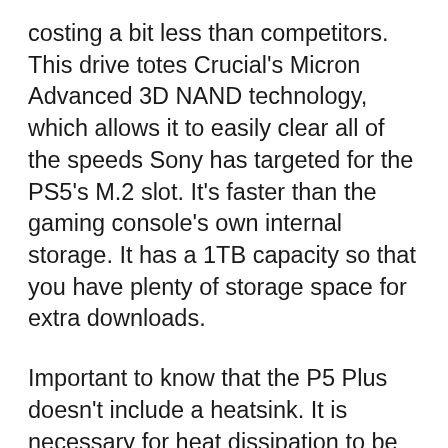costing a bit less than competitors. This drive totes Crucial's Micron Advanced 3D NAND technology, which allows it to easily clear all of the speeds Sony has targeted for the PS5's M.2 slot. It's faster than the gaming console's own internal storage. It has a 1TB capacity so that you have plenty of storage space for extra downloads.
Important to know that the P5 Plus doesn't include a heatsink. It is necessary for heat dissipation to be achieved when the P5 Plus is used with your PS5. But, if you're familiar with PC builds, it should be easy to remedy this issue by attaching your own heatsink. Make sure it fits within the slot's height restrictions.